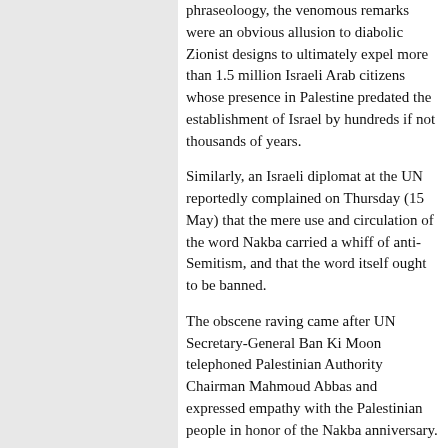phraseoloogy, the venomous remarks were an obvious allusion to diabolic Zionist designs to ultimately expel more than 1.5 million Israeli Arab citizens whose presence in Palestine predated the establishment of Israel by hundreds if not thousands of years.
Similarly, an Israeli diplomat at the UN reportedly complained on Thursday (15 May) that the mere use and circulation of the word Nakba carried a whiff of anti-Semitism, and that the word itself ought to be banned.
The obscene raving came after UN Secretary-General Ban Ki Moon telephoned Palestinian Authority Chairman Mahmoud Abbas and expressed empathy with the Palestinian people in honor of the Nakba anniversary.
You see the brutal ugliness of the Zionist mentality. They want even to ban the use of word that reminds humanity of the greatest theft and act of rape in history, carried out by a people who claim to adhere to the Torah, the Holy Scripture that taught humanity, among other things, ◆thou shall not steal.◆
Obviously, Livni, who is now celebrating 60 years of theft and ethnic cleansing, wants her of the other Palestinians to forget the